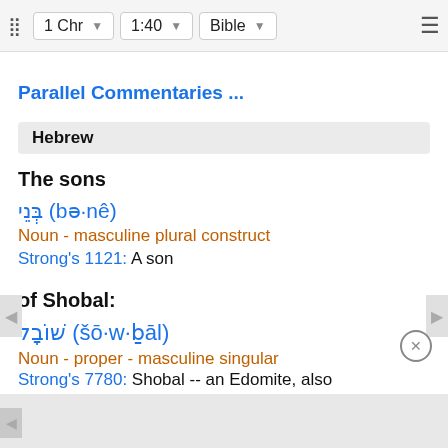1 Chr  1:40  Bible
Parallel Commentaries ...
Hebrew
The sons
בְּנֵי (bə·nê)
Noun - masculine plural construct
Strong's 1121: A son
of Shobal:
שׁוֹבָל (šō·w·ḇāl)
Noun - proper - masculine singular
Strong's 7780: Shobal -- an Edomite, also two Is...  also two Is